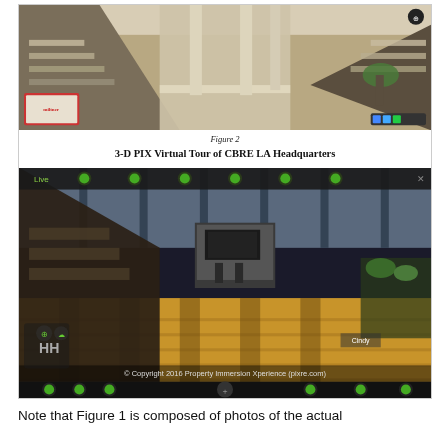[Figure (photo): Top portion: Interior photograph of CBRE LA Headquarters showing a modern lobby/corridor with stairs, high ceilings, columns, and plants. Bottom portion: 3-D PIX virtual tour screenshot of the same CBRE LA Headquarters interior showing an interactive 3D view with navigation controls, wooden floors, glass ceiling, workstations, and copyright notice '© Copyright 2016 Property Immersion Xperience (pixre.com)']
Figure 2
3-D PIX Virtual Tour of CBRE LA Headquarters
Note that Figure 1 is composed of photos of the actual